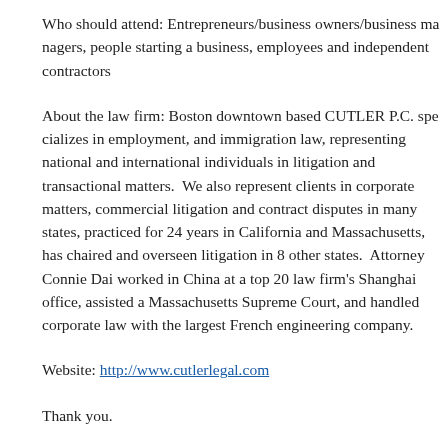Who should attend: Entrepreneurs/business owners/business managers, people starting a business, employees and independent contractors
About the law firm: Boston downtown based CUTLER P.C. specializes in employment, and immigration law, representing national and international individuals in litigation and transactional matters.  We also represent clients in corporate matters, commercial litigation and contract disputes in many states, practiced for 24 years in California and Massachusetts, has chaired and overseen litigation in 8 other states.  Attorney Connie Dai worked in China at a top 20 law firm's Shanghai office, assisted a Massachusetts Supreme Court, and handled corporate law with the largest French engineering company.
Website: http://www.cutlerlegal.com
Thank you.
NCLS Admin.
This entry was posted in 공지사항. Bookmark the permalink.